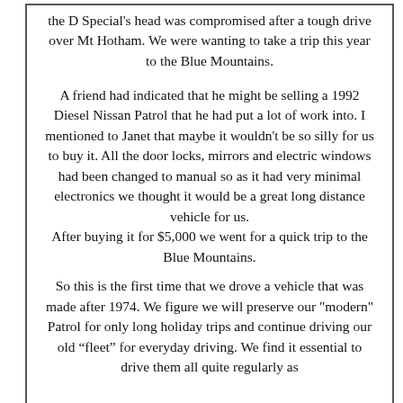the D Special's head was compromised after a tough drive over Mt Hotham. We were wanting to take a trip this year to the Blue Mountains.

A friend had indicated that he might be selling a 1992 Diesel Nissan Patrol that he had put a lot of work into. I mentioned to Janet that maybe it wouldn't be so silly for us to buy it. All the door locks, mirrors and electric windows had been changed to manual so as it had very minimal electronics we thought it would be a great long distance vehicle for us.
After buying it for $5,000 we went for a quick trip to the Blue Mountains.

So this is the first time that we drove a vehicle that was made after 1974. We figure we will preserve our "modern" Patrol for only long holiday trips and continue driving our old “fleet” for everyday driving. We find it essential to drive them all quite regularly as